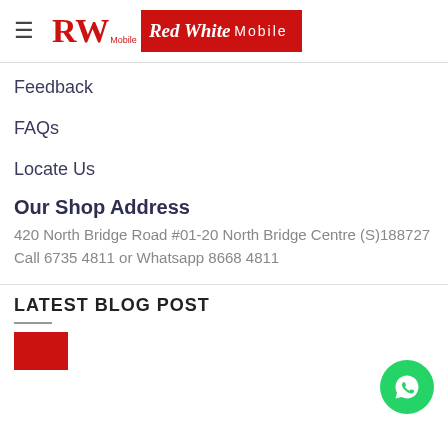RW Mobile | Red White Mobile
Feedback
FAQs
Locate Us
Our Shop Address
420 North Bridge Road #01-20 North Bridge Centre (S)188727
Call 6735 4811 or Whatsapp 8668 4811
LATEST BLOG POST
[Figure (logo): Red White Mobile logo with RW letters and red badge]